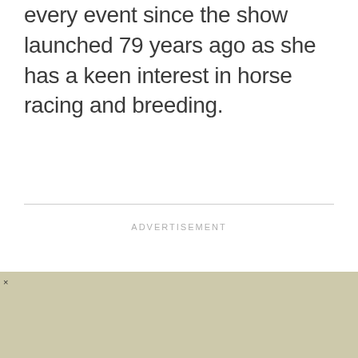every event since the show launched 79 years ago as she has a keen interest in horse racing and breeding.
ADVERTISEMENT